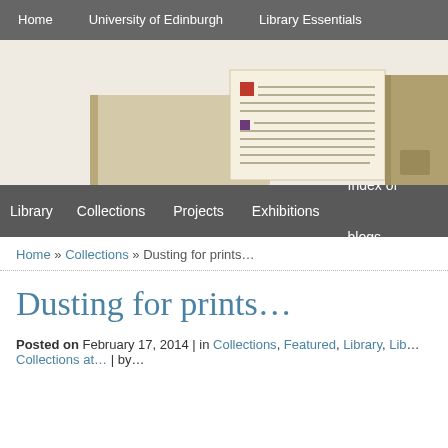Home   University of Edinburgh   Library Essentials
[Figure (photo): Banner image showing an open illuminated manuscript with decorative red initial and handwritten text, with wooden book covers visible]
Library   Collections   Projects   Exhibitions   Index of blogs
Home » Collections » Dusting for prints…
Dusting for prints…
Posted on February 17, 2014 | in Collections, Featured, Library, Lib… Collections at… | by…